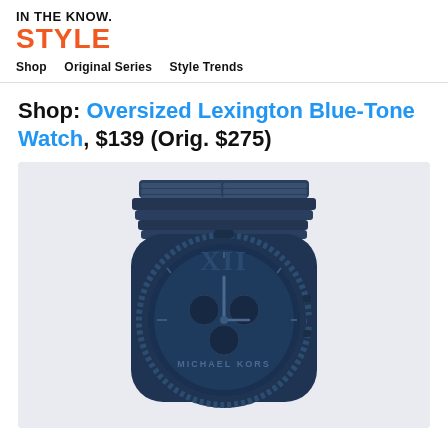IN THE KNOW. STYLE
Shop  Original Series  Style Trends
Shop: Oversized Lexington Blue-Tone Watch, $139 (Orig. $275)
[Figure (photo): Michael Kors Oversized Lexington Blue-Tone stainless steel chronograph watch with Roman numeral XII on navy blue dial, shown on light gray background]